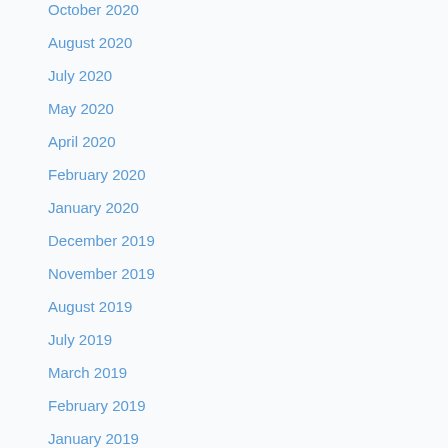October 2020
August 2020
July 2020
May 2020
April 2020
February 2020
January 2020
December 2019
November 2019
August 2019
July 2019
March 2019
February 2019
January 2019